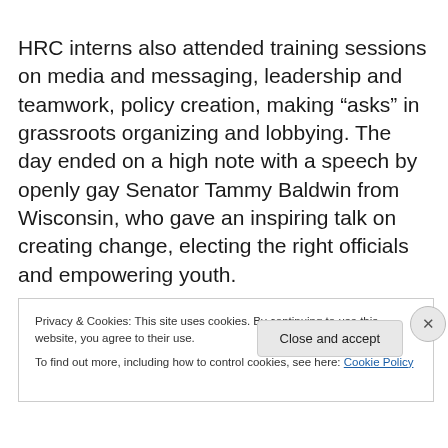HRC interns also attended training sessions on media and messaging, leadership and teamwork, policy creation, making “asks” in grassroots organizing and lobbying. The day ended on a high note with a speech by openly gay Senator Tammy Baldwin from Wisconsin, who gave an inspiring talk on creating change, electing the right officials and empowering youth.
Privacy & Cookies: This site uses cookies. By continuing to use this website, you agree to their use.
To find out more, including how to control cookies, see here: Cookie Policy